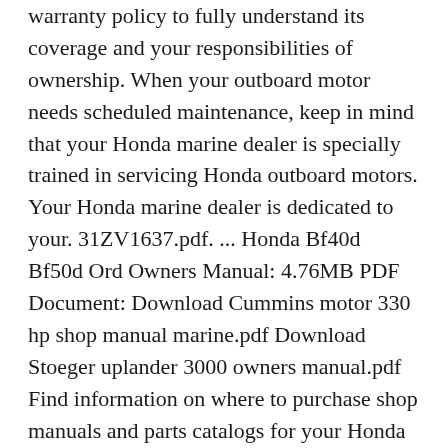warranty policy to fully understand its coverage and your responsibilities of ownership. When your outboard motor needs scheduled maintenance, keep in mind that your Honda marine dealer is specially trained in servicing Honda outboard motors. Your Honda marine dealer is dedicated to your. 31ZV1637.pdf. ... Honda Bf40d Bf50d Ord Owners Manual: 4.76MB PDF Document: Download Cummins motor 330 hp shop manual marine.pdf Download Stoeger uplander 3000 owners manual.pdf Find information on where to purchase shop manuals and parts catalogs for your Honda Marine outboard. Download Now>> Pdf file description This is the most practical Service Repair Manual